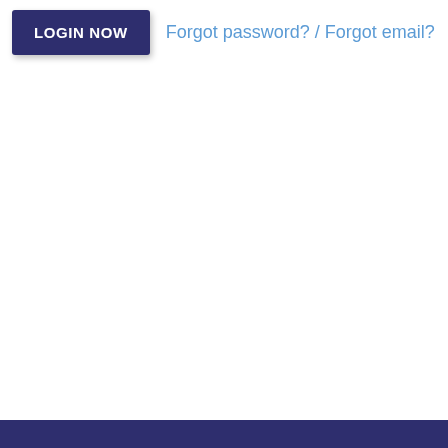[Figure (screenshot): A dark navy blue 'LOGIN NOW' button with white bold uppercase text and a drop shadow, positioned in the upper left area of the page.]
Forgot password? / Forgot email?